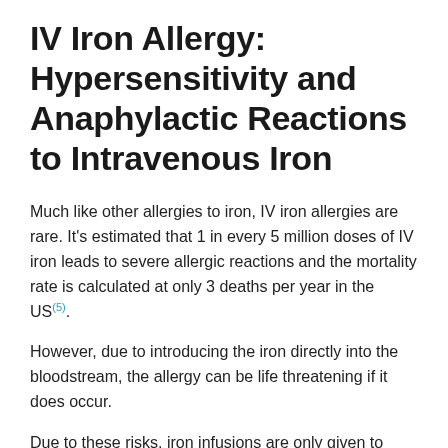IV Iron Allergy: Hypersensitivity and Anaphylactic Reactions to Intravenous Iron
Much like other allergies to iron, IV iron allergies are rare. It's estimated that 1 in every 5 million doses of IV iron leads to severe allergic reactions and the mortality rate is calculated at only 3 deaths per year in the US(5).
However, due to introducing the iron directly into the bloodstream, the allergy can be life threatening if it does occur.
Due to these risks, iron infusions are only given to patients in a hospital with appropriate equipment and fully trained staff to handle complications. In 2013, the European Medicines Agency Committee for Medicinal